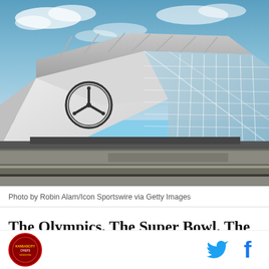[Figure (photo): Exterior photo of Mercedes-Benz Stadium in Atlanta, with the distinctive angular white and glass facade showing the Mercedes-Benz star logo, under a blue sky with light clouds.]
Photo by Robin Alam/Icon Sportswire via Getty Images
The Olympics. The Super Bowl. The Final Four. The
[Figure (logo): Circular red/dark logo with text around the border]
[Figure (logo): Twitter bird icon in blue and Facebook f icon in blue, social media sharing buttons]